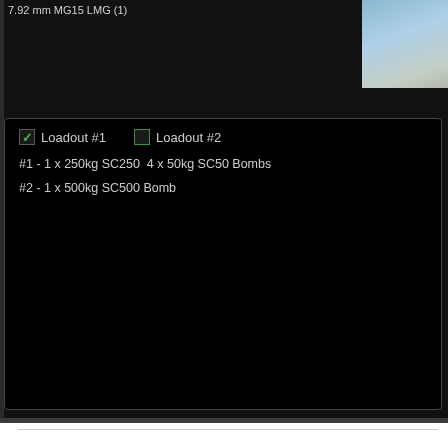[Figure (screenshot): Game UI screenshot showing aircraft loadout selection panel with dark background. Text '7.92 mm MG15 LMG (1)' visible at top. Sky/terrain image in top right. Loadout panel shows: Loadout #1 (checked green), Loadout #2. #1 - 1 x 250kg SC250  4 x 50kg SC50 Bombs. #2 - 1 x 500kg SC500 Bomb.]
NEW STUG G MODEL W/MG34 (AND SID
Ask anyone who's ever driven a Stug, you'll hear, "Where's the machine-gun?" the new Stug III Ausf G w/Saukopf and Schürtzen model!
[Figure (screenshot): Screenshot of WWII Online game showing outdoor terrain with trees and buildings. WWII Online logo overlay on left side with text 'HAVE YOU ENLISTED?' and 'WWIIONLINE.COM'. A tank is partially visible at bottom right.]